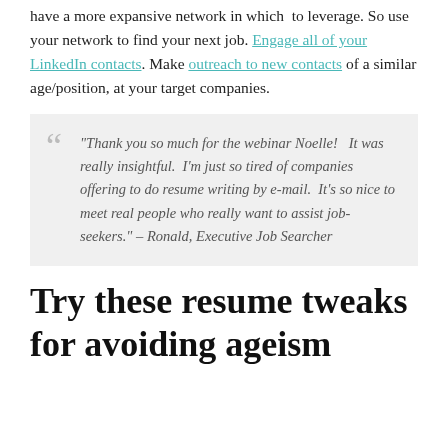have a more expansive network in which to leverage. So use your network to find your next job. Engage all of your LinkedIn contacts. Make outreach to new contacts of a similar age/position, at your target companies.
"Thank you so much for the webinar Noelle!  It was really insightful.  I'm just so tired of companies offering to do resume writing by e-mail.  It's so nice to meet real people who really want to assist job-seekers." – Ronald, Executive Job Searcher
Try these resume tweaks for avoiding ageism